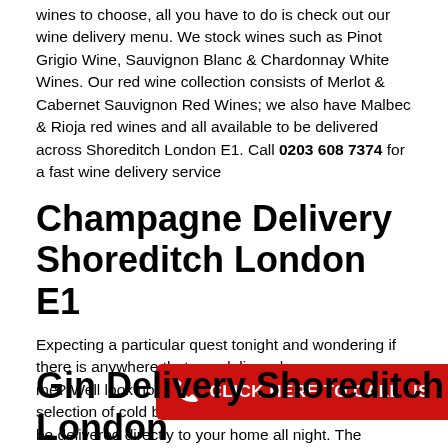wines to choose, all you have to do is check out our wine delivery menu. We stock wines such as Pinot Grigio Wine, Sauvignon Blanc & Chardonnay White Wines. Our red wine collection consists of Merlot & Cabernet Sauvignon Red Wines; we also have Malbec & Rioja red wines and all available to be delivered across Shoreditch London E1. Call 0203 608 7374 for a fast wine delivery service
Champagne Delivery Shoreditch London E1
Expecting a particular quest tonight and wondering if there is anywhere that can deliver champagne near me? Well look no further 24 Hr Drinks has an excellent selection of cold bubbly champagne on hand ready to be delivered directly to your home all night. The champagne cabinet consists of Moet & Chandon, Veuve Clicquot, Taittinger, Dom Perignon Champagne, Laurent Perrier Rose Champagne & Cristal Champagne so whichever Champagne takes your fancy we have you covered across Shoreditch London E1.
[Figure (other): Red button with phone icon and text 'CLICK HERE TO CALL US']
Gin Delivery Shoreditch London